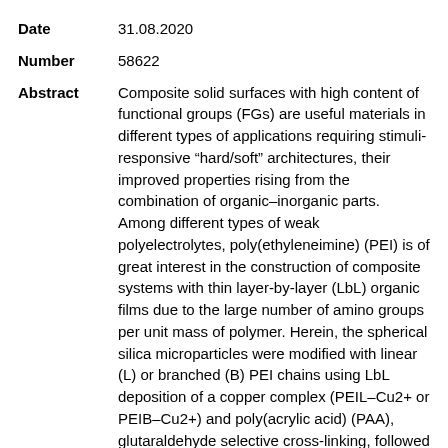Date   31.08.2020
Number   58622
Abstract   Composite solid surfaces with high content of functional groups (FGs) are useful materials in different types of applications requiring stimuli-responsive “hard/soft” architectures, their improved properties rising from the combination of organic–inorganic parts. Among different types of weak polyelectrolytes, poly(ethyleneimine) (PEI) is of great interest in the construction of composite systems with thin layer-by-layer (LbL) organic films due to the large number of amino groups per unit mass of polymer. Herein, the spherical silica microparticles were modified with linear (L) or branched (B) PEI chains using LbL deposition of a copper complex (PEIL–Cu2+ or PEIB–Cu2+) and poly(acrylic acid) (PAA), glutaraldehyde selective cross-linking, followed by copper and PAA extraction from the multilayer. The newly formed silica/(PEIL)10 and silica/(PEIB)10 composites were used in batch and column sorption/desorption